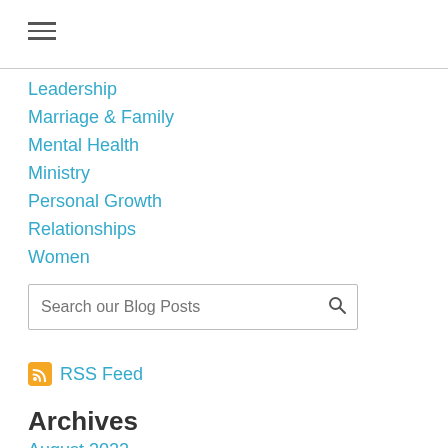[Figure (other): Hamburger menu icon (three horizontal lines)]
Leadership
Marriage & Family
Mental Health
Ministry
Personal Growth
Relationships
Women
Search our Blog Posts
RSS Feed
Archives
August 2022